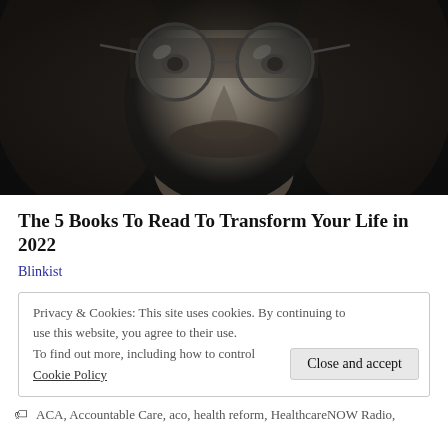[Figure (photo): Black and white close-up portrait of a young man with round glasses, long dark hair, and a beard/mustache, looking upward with dramatic lighting.]
The 5 Books To Read To Transform Your Life in 2022
Blinkist
Privacy & Cookies: This site uses cookies. By continuing to use this website, you agree to their use. To find out more, including how to control Cookie Policy   Close and accept
ACA, Accountable Care, aco, health reform, HealthcareNOW Radio,